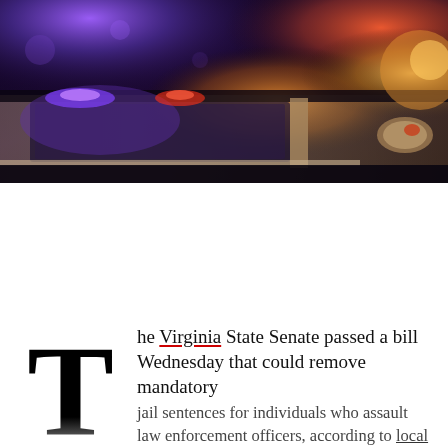[Figure (photo): A police car at night with blue and red emergency lights flashing, dark nighttime urban scene with warm orange street lighting visible in background. Close-up side view showing car window and side mirror.]
The Virginia State Senate passed a bill Wednesday that could remove mandatory jail sentences for individuals who assault law enforcement officers, according to local